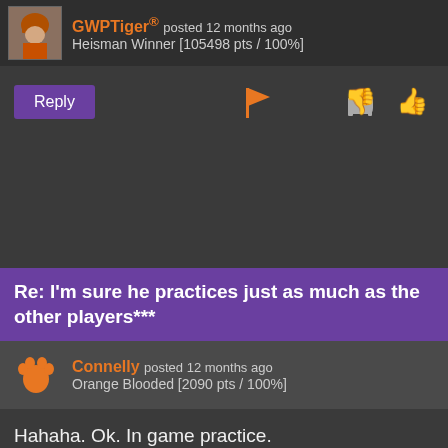[Figure (screenshot): Forum comment header with avatar of GWPTiger, username in orange, posted 12 months ago, Heisman Winner [105498 pts / 100%]]
[Figure (screenshot): Action bar with Reply button, flag icon, thumbs down and thumbs up icons]
Re: I'm sure he practices just as much as the other players***
[Figure (screenshot): Forum comment header with Clemson paw icon, username Connelly in orange, posted 12 months ago, Orange Blooded [2090 pts / 100%]]
Hahaha. Ok. In game practice.
[Figure (screenshot): Action bar with Reply button, flag icon, thumbs down and thumbs up icons]